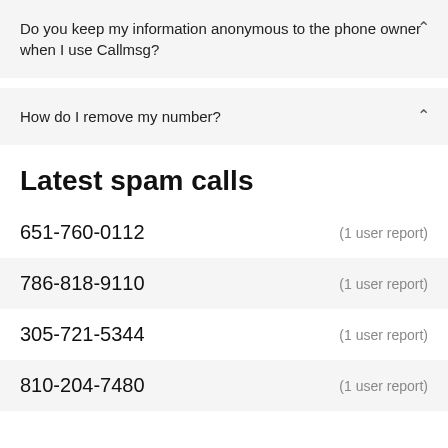Do you keep my information anonymous to the phone owner when I use Callmsg?
How do I remove my number?
Latest spam calls
651-760-0112  (1 user report)
786-818-9110  (1 user report)
305-721-5344  (1 user report)
810-204-7480  (1 user report)